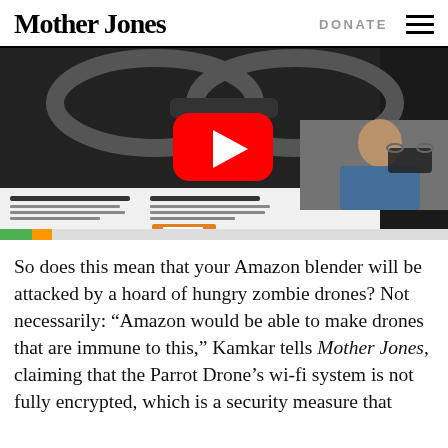Mother Jones | DONATE
[Figure (screenshot): YouTube video player embedded in a webpage showing a drone (Parrot AR.Drone) and a person holding a drone. The video thumbnail shows a large drone with circular rotors against a dark background, with a red YouTube play button in the center. Below the video are sections reading 'CAPTURE HD PHOTOS & VIDEOS' and 'FLY HIGH, FLY SAFE'. An inset shows a man holding a small drone.]
So does this mean that your Amazon blender will be attacked by a hoard of hungry zombie drones? Not necessarily: “Amazon would be able to make drones that are immune to this,” Kamkar tells Mother Jones, claiming that the Parrot Drone’s wi-fi system is not fully encrypted, which is a security measure that